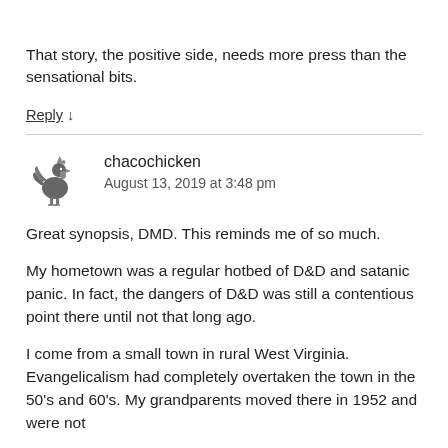That story, the positive side, needs more press than the sensational bits.
Reply ↓
chacochicken
August 13, 2019 at 3:48 pm
Great synopsis, DMD. This reminds me of so much.
My hometown was a regular hotbed of D&D and satanic panic. In fact, the dangers of D&D was still a contentious point there until not that long ago.
I come from a small town in rural West Virginia. Evangelicalism had completely overtaken the town in the 50's and 60's. My grandparents moved there in 1952 and were not